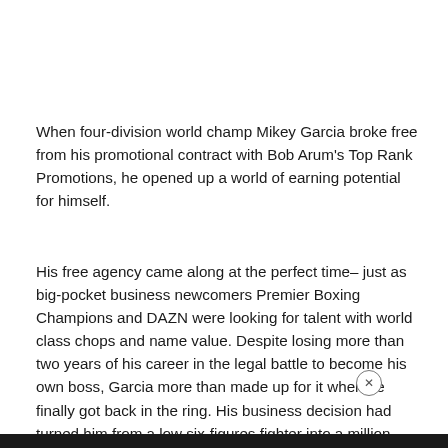When four-division world champ Mikey Garcia broke free from his promotional contract with Bob Arum's Top Rank Promotions, he opened up a world of earning potential for himself.
His free agency came along at the perfect time– just as big-pocket business newcomers Premier Boxing Champions and DAZN were looking for talent with world class chops and name value. Despite losing more than two years of his career in the legal battle to become his own boss, Garcia more than made up for it when he finally got back in the ring. His business decision had turned him from a low six-figures fighter into a million dollar headliner.